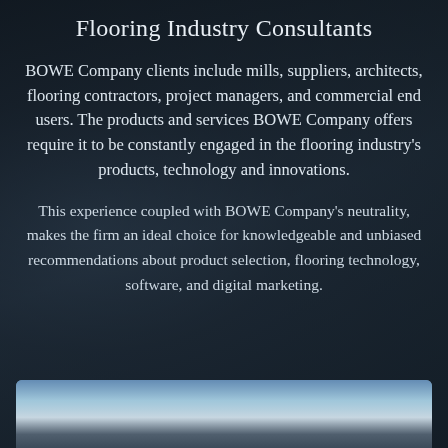Flooring Industry Consultants
BOWE Company clients include mills, suppliers, architects, flooring contractors, project managers, and commercial end users. The products and services BOWE Company offers require it to be constantly engaged in the flooring industry's products, technology and innovations.
This experience coupled with BOWE Company's neutrality, makes the firm an ideal choice for knowledgeable and unbiased recommendations about product selection, flooring technology, software, and digital marketing.
[Figure (photo): Partial sky/landscape photo strip visible at the bottom of the page]